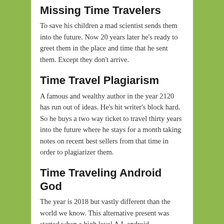Missing Time Travelers
To save his children a mad scientist sends them into the future. Now 20 years later he's ready to greet them in the place and time that he sent them. Except they don't arrive.
Time Travel Plagiarism
A famous and wealthy author in the year 2120 has run out of ideas. He's hit writer's block hard. So he buys a two way ticket to travel thirty years into the future where he stays for a month taking notes on recent best sellers from that time in order to plagiarizer them.
Time Traveling Android God
The year is 2018 but vastly different than the world we know. This alternative present was started when a high level A.I. android